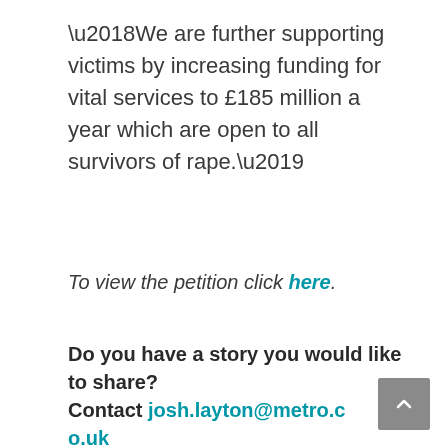‘We are further supporting victims by increasing funding for vital services to £185 million a year which are open to all survivors of rape.’
To view the petition click here.
Do you have a story you would like to share? Contact josh.layton@metro.co.uk